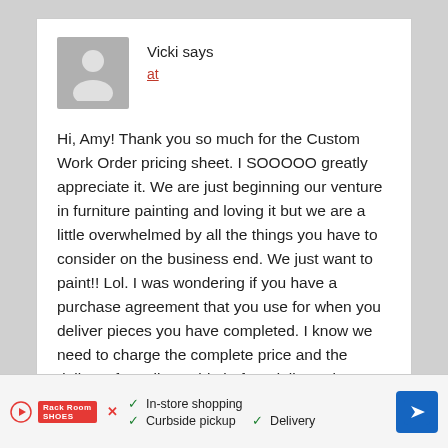Vicki says
at
Hi, Amy! Thank you so much for the Custom Work Order pricing sheet. I SOOOOO greatly appreciate it. We are just beginning our venture in furniture painting and loving it but we are a little overwhelmed by all the things you have to consider on the business end. We just want to paint!! Lol. I was wondering if you have a purchase agreement that you use for when you deliver pieces you have completed. I know we need to charge the complete price and the delivery fee, all payable before delivery, but I'm not sure how to word all of that in an agreement that I have them sign. Do you use such a thing and, if so, would you be willing to share? Thank you again!
[Figure (infographic): Advertisement bar: Play button icon, brand logo (red), close X button, checkmarks for In-store shopping, Curbside pickup, Delivery, and blue navigation arrow icon]